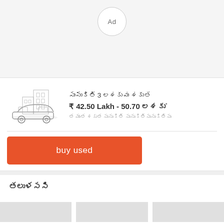[Figure (other): Ad circle button at top center]
[Figure (illustration): Car listing card with car silhouette image, title in Telugu script, price ₹42.50 Lakh - 50.70 [Telugu], subtext in Telugu]
buy used
[Telugu text - recommended section header]